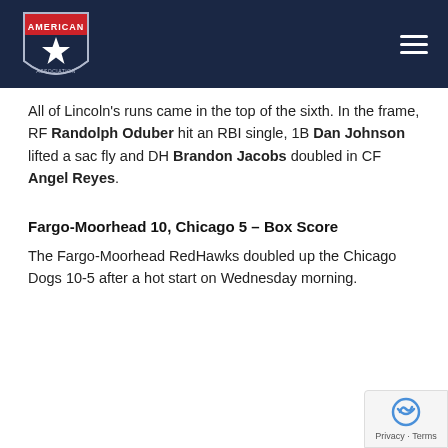American Association logo and navigation
All of Lincoln's runs came in the top of the sixth. In the frame, RF Randolph Oduber hit an RBI single, 1B Dan Johnson lifted a sac fly and DH Brandon Jacobs doubled in CF Angel Reyes.
Fargo-Moorhead 10, Chicago 5 – Box Score
The Fargo-Moorhead RedHawks doubled up the Chicago Dogs 10-5 after a hot start on Wednesday morning.